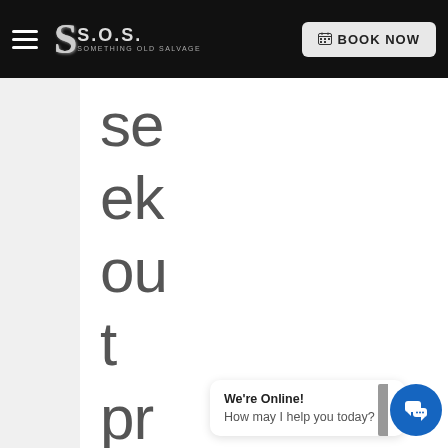S.O.S. Something Old Salvage — BOOK NOW
seek out professi
We're Online! How may I help you today?